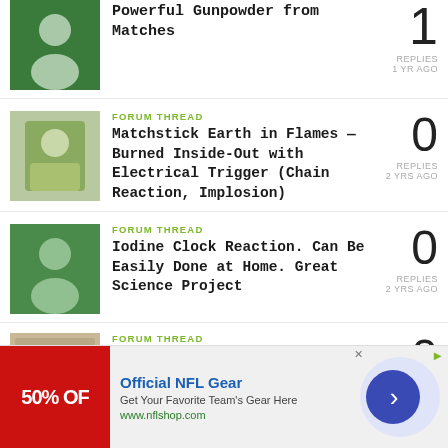Powerful Gunpowder from Matches — 1 REPLIES 1 YR AGO
FORUM THREAD — Matchstick Earth in Flames – Burned Inside-Out with Electrical Trigger (Chain Reaction, Implosion) — 0 REPLIES 2 YRS AGO
FORUM THREAD — Iodine Clock Reaction. Can Be Easily Done at Home. Great Science Project — 0 REPLIES 2 YRS AGO
FORUM THREAD — I'm Looking to Create a Weapon. — 0
[Figure (screenshot): Ad banner: Official NFL Gear — 50% OFF, Get Your Favorite Team's Gear Here, www.nflshop.com]